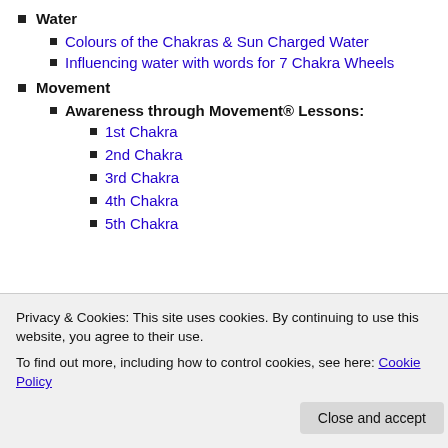Water
Colours of the Chakras & Sun Charged Water
Influencing water with words for 7 Chakra Wheels
Movement
Awareness through Movement® Lessons:
1st Chakra
2nd Chakra
3rd Chakra
4th Chakra
5th Chakra
Privacy & Cookies: This site uses cookies. By continuing to use this website, you agree to their use. To find out more, including how to control cookies, see here: Cookie Policy
restoring balance